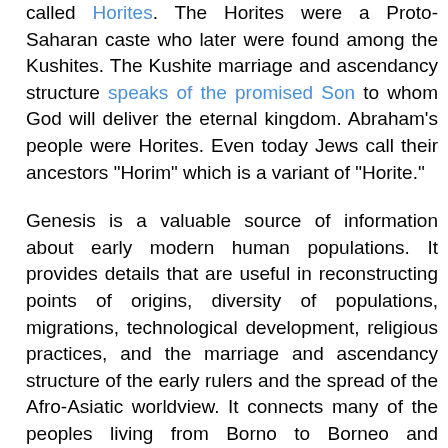called Horites. The Horites were a Proto-Saharan caste who later were found among the Kushites. The Kushite marriage and ascendancy structure speaks of the promised Son to whom God will deliver the eternal kingdom. Abraham's people were Horites. Even today Jews call their ancestors "Horim" which is a variant of "Horite."
Genesis is a valuable source of information about early modern human populations. It provides details that are useful in reconstructing points of origins, diversity of populations, migrations, technological development, religious practices, and the marriage and ascendancy structure of the early rulers and the spread of the Afro-Asiatic worldview. It connects many of the peoples living from Borno to Borneo and explains common mythological motifs such as the serpent, the tree of life, the solar boat, and falcon-shaped Harappan fire altars dedicated to Horus, the prefigurement of Jesus Christ.
When it comes to theories of creation, people immediately think of the creation narratives in Genesis. However, Genesis is not about the origins of life on earth. Ultimately, it